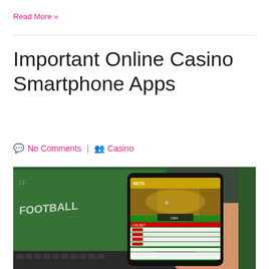Read More »
Important Online Casino Smartphone Apps
No Comments | Casino
[Figure (photo): A hand holding a smartphone displaying a sports betting / casino mobile app with green interface showing various betting markets, with a laptop keyboard visible in the background]